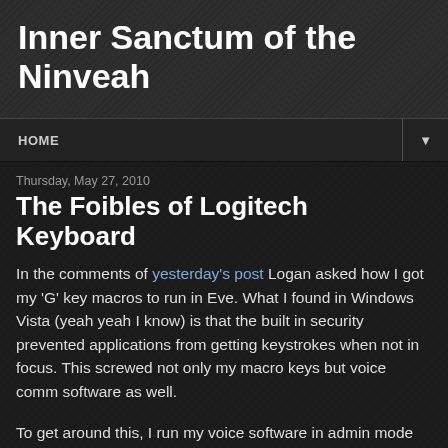Inner Sanctum of the Ninveah
HOME
Thursday, May 27, 2010
The Foibles of Logitech Keyboard
In the comments of yesterday's post Logan asked how I got my 'G' key macros to run in Eve. What I found in Windows Vista (yeah yeah I know) is that the built in security prevented applications from getting keystrokes when not in focus. This screwed not only my macro keys but voice comm software as well.
To get around this, I run my voice software in admin mode which circumvents the default security. I decided to do the